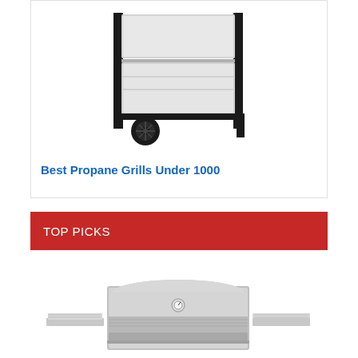[Figure (photo): Side view of a propane grill with black frame and silver/white body, two large wheels visible at the bottom]
Best Propane Grills Under 1000
TOP PICKS
[Figure (photo): Front view of a stainless steel countertop/built-in propane grill with a thermometer gauge on the lid and side shelves]